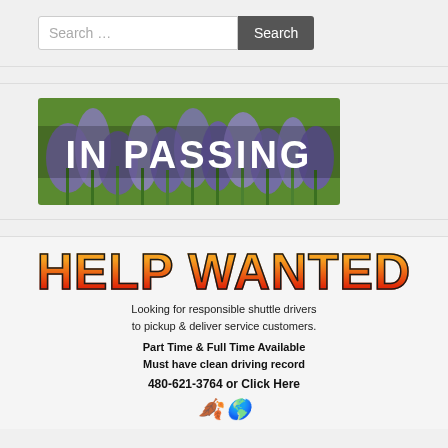Search ...
[Figure (illustration): IN PASSING banner with lavender flower background]
[Figure (illustration): HELP WANTED advertisement for responsible shuttle drivers. Looking for responsible shuttle drivers to pickup & deliver service customers. Part Time & Full Time Available. Must have clean driving record. 480-621-3764 or Click Here]